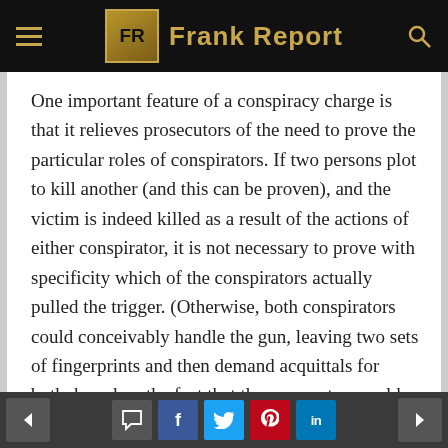Frank Report
One important feature of a conspiracy charge is that it relieves prosecutors of the need to prove the particular roles of conspirators. If two persons plot to kill another (and this can be proven), and the victim is indeed killed as a result of the actions of either conspirator, it is not necessary to prove with specificity which of the conspirators actually pulled the trigger. (Otherwise, both conspirators could conceivably handle the gun, leaving two sets of fingerprints and then demand acquittals for both, based on the fact that the prosecutor would be unable to prove, beyond a reasonable doubt, which of the two conspirators was the triggerman). A conspiracy conviction requires proof that (a) the